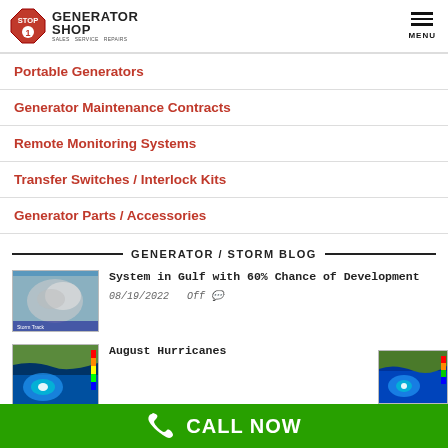1 Stop Generator Shop — MENU
Portable Generators
Generator Maintenance Contracts
Remote Monitoring Systems
Transfer Switches / Interlock Kits
Generator Parts / Accessories
GENERATOR / STORM BLOG
System in Gulf with 60% Chance of Development
08/19/2022   Off
August Hurricanes
CALL NOW